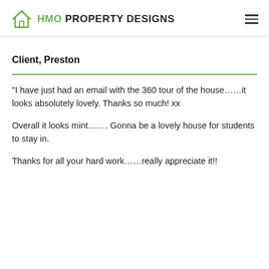HMO PROPERTY DESIGNS
Client, Preston
“I have just had an email with the 360 tour of the house……it looks absolutely lovely. Thanks so much! xx

Overall it looks mint……. Gonna be a lovely house for students to stay in.

Thanks for all your hard work……really appreciate it!!